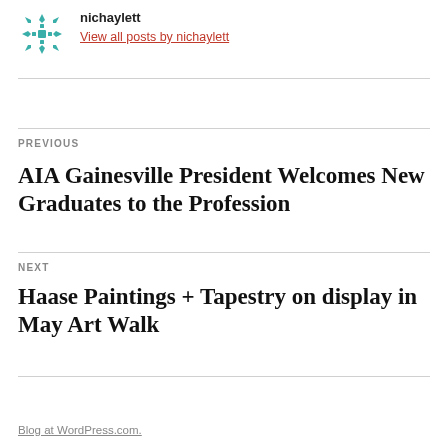[Figure (logo): Teal/green decorative snowflake-style icon, avatar for nichaylett]
nichaylett
View all posts by nichaylett
PREVIOUS
AIA Gainesville President Welcomes New Graduates to the Profession
NEXT
Haase Paintings + Tapestry on display in May Art Walk
Blog at WordPress.com.